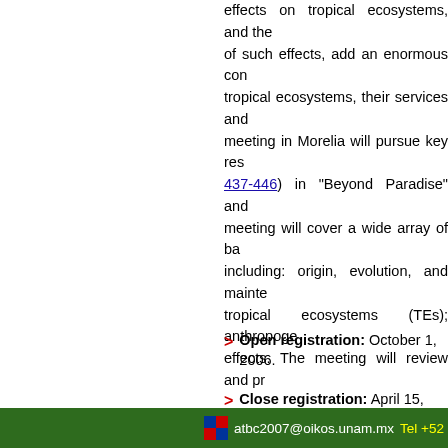effects on tropical ecosystems, and the uncertainty of such effects, add an enormous complexity to tropical ecosystems, their services and ... meeting in Morelia will pursue key res... 437-446) in "Beyond Paradise" and ... meeting will cover a wide array of b... including: origin, evolution, and mainte... tropical ecosystems (TEs); anthropoge... effects. The meeting will review and pr...
Open registration: October 1, 2006.
Close registration: April 15, 2007.
[Sym...
atbc2007@oikos.unam.mx  Tel +5...